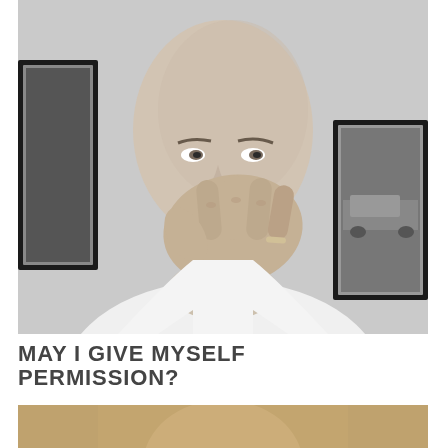[Figure (photo): Black and white close-up photo of a bald man covering his mouth with his hand, wearing a white shirt. Framed pictures visible on wall behind him.]
MAY I GIVE MYSELF PERMISSION?
[Figure (photo): Partial view of a second photo, warm/sepia toned, cropped at bottom of page.]